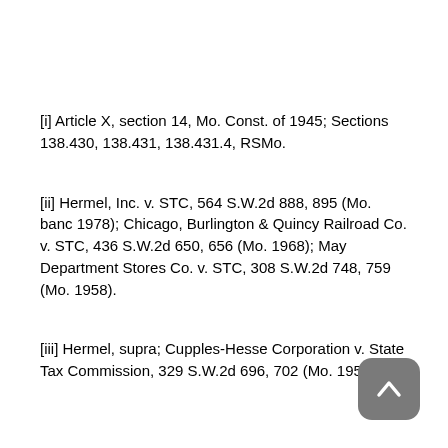[i] Article X, section 14, Mo. Const. of 1945; Sections 138.430, 138.431, 138.431.4, RSMo.
[ii] Hermel, Inc. v. STC, 564 S.W.2d 888, 895 (Mo. banc 1978); Chicago, Burlington & Quincy Railroad Co. v. STC, 436 S.W.2d 650, 656 (Mo. 1968); May Department Stores Co. v. STC, 308 S.W.2d 748, 759 (Mo. 1958).
[iii] Hermel, supra; Cupples-Hesse Corporation v. State Tax Commission, 329 S.W.2d 696, 702 (Mo. 1959).